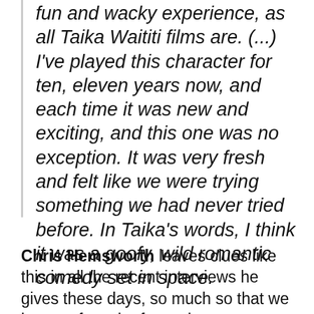fun and wacky experience, as all Taika Waititi films are. (...) I've played this character for ten, eleven years now, and each time it was new and exciting, and this one was no exception. It was very fresh and felt like we were trying something we had never tried before. In Taika's words, I think it was a goofy, wild romantic comedy set in space.
Chris Hemsworth leaves clues like this in all the recent interviews he gives these days, so much so that we have to face the facts: the